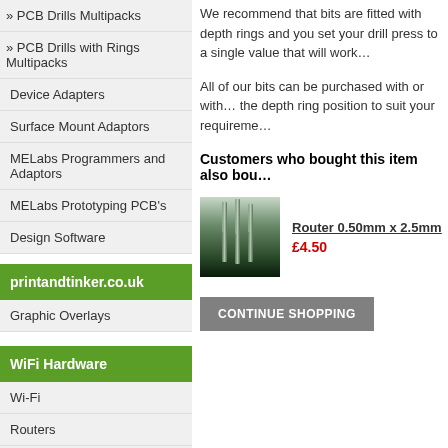» PCB Drills Multipacks
» PCB Drills with Rings Multipacks
Device Adapters
Surface Mount Adaptors
MELabs Programmers and Adaptors
MELabs Prototyping PCB's
Design Software
printandtinker.co.uk
Graphic Overlays
WiFi Hardware
Wi-Fi
Routers
Plugs & Cables
We recommend that bits are fitted with depth rings and you set your drill press to a single value that will work for you.
All of our bits can be purchased with or without depth rings. Adjust the depth ring position to suit your requirements.
Customers who bought this item also bought
[Figure (photo): Three router drill bits with dark gradient background]
Router 0.50mm x 2.5mm
£4.50
CONTINUE SHOPPING